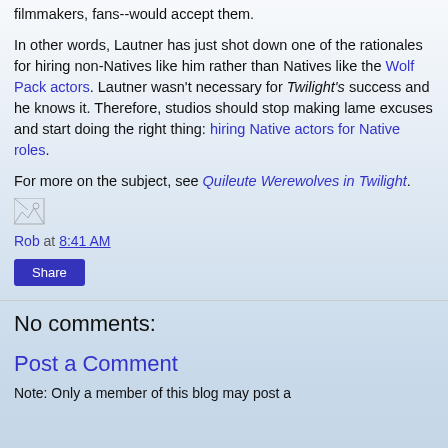filmmakers, fans--would accept them.
In other words, Lautner has just shot down one of the rationales for hiring non-Natives like him rather than Natives like the Wolf Pack actors. Lautner wasn't necessary for Twilight's success and he knows it. Therefore, studios should stop making lame excuses and start doing the right thing: hiring Native actors for Native roles.
For more on the subject, see Quileute Werewolves in Twilight.
[Figure (illustration): Small broken image icon placeholder]
Rob at 8:41 AM
Share
No comments:
Post a Comment
Note: Only a member of this blog may post a